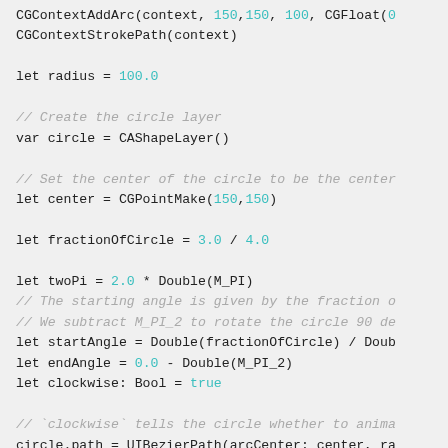CGContextAddArc(context, 150,150, 100, CGFloat(0
CGContextStrokePath(context)

let radius = 100.0

// Create the circle layer
var circle = CAShapeLayer()

// Set the center of the circle to be the center
let center = CGPointMake(150,150)

let fractionOfCircle = 3.0 / 4.0

let twoPi = 2.0 * Double(M_PI)
// The starting angle is given by the fraction o
// We subtract M_PI_2 to rotate the circle 90 de
let startAngle = Double(fractionOfCircle) / Doub
let endAngle = 0.0 - Double(M_PI_2)
let clockwise: Bool = true

// `clockwise` tells the circle whether to anima
circle.path = UIBezierPath(arcCenter: center, ra